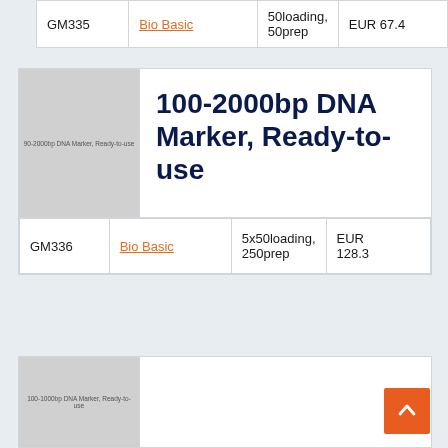|  |  |  |  |
| --- | --- | --- | --- |
| GM335 | Bio Basic | 50loading, 50prep | EUR 67.4 |
[Figure (photo): Product image placeholder for 90-2000bp DNA Marker, Ready-to-use]
100-2000bp DNA Marker, Ready-to-use
|  |  |  |  |
| --- | --- | --- | --- |
| GM336 | Bio Basic | 5x50loading, 250prep | EUR 128.3 |
[Figure (photo): Product image placeholder for 100-1000bp DNA Marker, Ready-to-use]